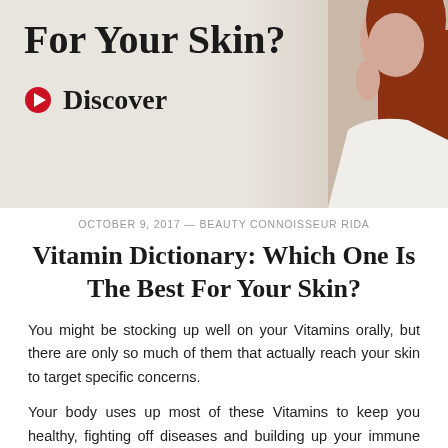[Figure (photo): Banner image showing partial title text 'For Your Skin?' in bold serif font over a light beige/cream background with a woman figure (hair, face, white top) on the right side, and a red arrow icon followed by bold 'Discover' text below the title.]
OCTOBER 9, 2017 — BEAUTY CONNOISSEUR RIDA
Vitamin Dictionary: Which One Is The Best For Your Skin?
You might be stocking up well on your Vitamins orally, but there are only so much of them that actually reach your skin to target specific concerns.
Your body uses up most of these Vitamins to keep you healthy, fighting off diseases and building up your immune system, which indirectly translates to better skin. But those pesky dark circles and that sagging skin need extra help and a direct dose of vitamins applied topically is what needs to get the job done.